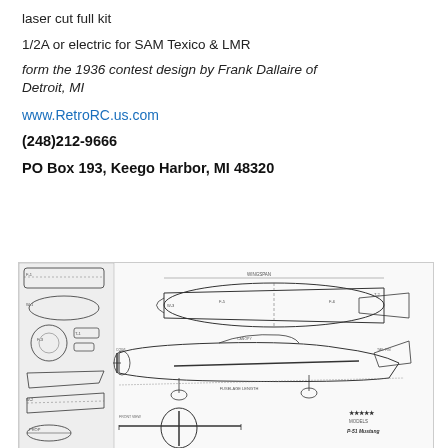laser cut full kit
1/2A or electric for SAM Texico & LMR
form the 1936 contest design by Frank Dallaire of Detroit, MI
www.RetroRC.us.com
(248)212-9666
PO Box 193, Keego Harbor, MI 48320
[Figure (engineering-diagram): Technical schematic/blueprint drawing of a P-51 Mustang model airplane showing multiple views (top, side, front) with dimensions and part labels, in black and white line art style.]